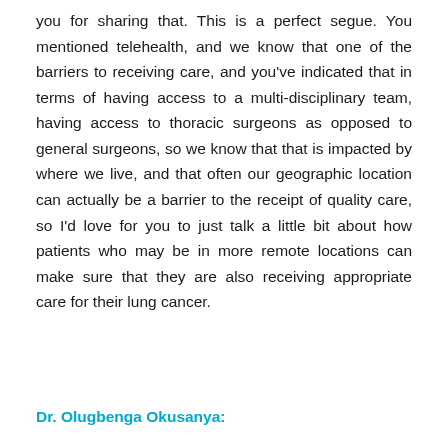you for sharing that. This is a perfect segue. You mentioned telehealth, and we know that one of the barriers to receiving care, and you've indicated that in terms of having access to a multi-disciplinary team, having access to thoracic surgeons as opposed to general surgeons, so we know that that is impacted by where we live, and that often our geographic location can actually be a barrier to the receipt of quality care, so I'd love for you to just talk a little bit about how patients who may be in more remote locations can make sure that they are also receiving appropriate care for their lung cancer.
Dr. Olugbenga Okusanya: